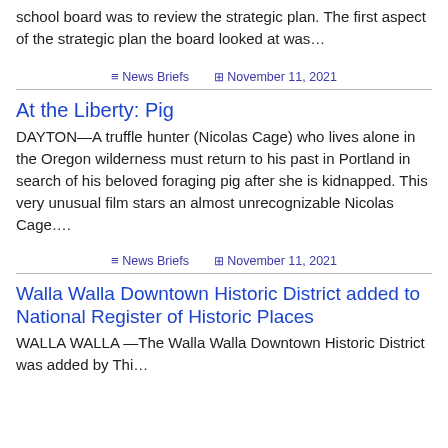school board was to review the strategic plan. The first aspect of the strategic plan the board looked at was…
≡ News Briefs  ⊞ November 11, 2021
At the Liberty: Pig
DAYTON—A truffle hunter (Nicolas Cage) who lives alone in the Oregon wilderness must return to his past in Portland in search of his beloved foraging pig after she is kidnapped. This very unusual film stars an almost unrecognizable Nicolas Cage….
≡ News Briefs  ⊞ November 11, 2021
Walla Walla Downtown Historic District added to National Register of Historic Places
WALLA WALLA —The Walla Walla Downtown Historic District was added by Thi…